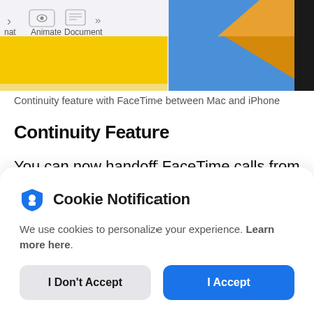[Figure (screenshot): Screenshot of a Mac application toolbar showing icons for Animate and Document tabs, with a preview of a Keynote-like interface showing yellow and blue/orange gradient background]
Continuity feature with FaceTime between Mac and iPhone
Continuity Feature
You can now handoff FaceTime calls from an iPhone to a Mac. In fact, you can now use your iPhone as a webcam with Continuity. And the
[Figure (screenshot): Cookie Notification dialog overlay with shield icon, text about cookie personalization, and two buttons: I Don't Accept and I Accept]
Cookie Notification
We use cookies to personalize your experience. Learn more here.
I Don't Accept
I Accept